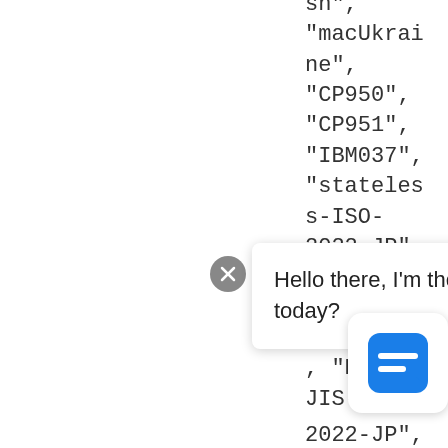"macTurkish", "macUkraine", "CP950", "CP951", "IBM037", "stateless-ISO-2022-JP", "eucJP-ms", "CP51932", "EUC-JIS-
Hello there, I'm the Elastic assistant 🤖 How can I help you today?
2022-JP",